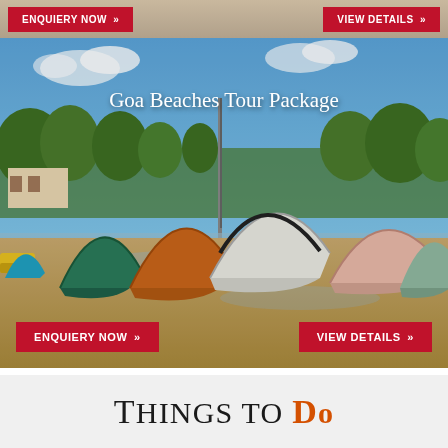[Figure (photo): Top strip showing partial beach/sand scene with two red CTA buttons: ENQUIERY NOW and VIEW DETAILS]
[Figure (photo): Photo of Goa beach scene with colorful wooden fishing boats (green, orange, white, pink) on wet sand with blue sky, trees and a tall pole in background. Title 'Goa Beaches Tour Package' overlaid in white text at top. Two red CTA buttons at bottom: ENQUIERY NOW and VIEW DETAILS.]
Things to Do